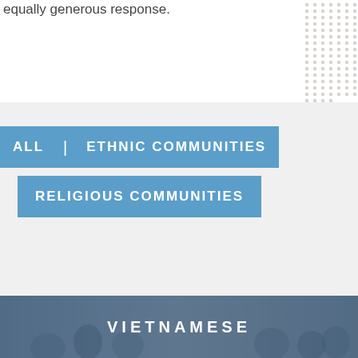equally generous response.
[Figure (illustration): Decorative dot grid pattern in top-right corner]
ALL | ETHNIC COMMUNITIES RELIGIOUS COMMUNITIES
[Figure (photo): Photo of Vietnamese community members at an outdoor event, with a text overlay reading VIETNAMESE]